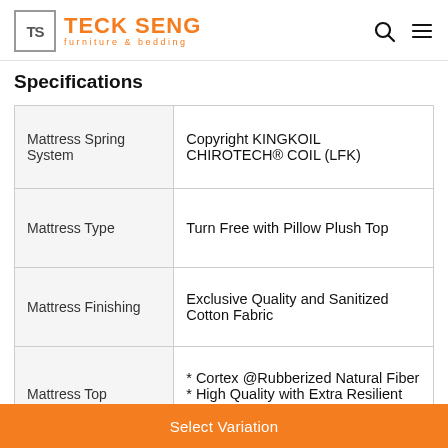TECK SENG furniture & bedding
Specifications
|  |  |
| --- | --- |
| Mattress Spring System | Copyright KINGKOIL CHIROTECH® COIL (LFK) |
| Mattress Type | Turn Free with Pillow Plush Top |
| Mattress Finishing | Exclusive Quality and Sanitized Cotton Fabric |
| Mattress Top | * Cortex @Rubberized Natural Fiber
* High Quality with Extra Resilient Rebound Latex |
Select Variation